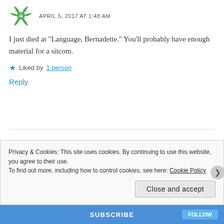APRIL 5, 2017 AT 1:48 AM
I just died at “Language, Bernadette.” You'll probably have enough material for a sitcom.
Liked by 1 person
Reply
Diary of a Dublin housewife
APRIL 5, 2017 AT 10:00 PM
Privacy & Cookies: This site uses cookies. By continuing to use this website, you agree to their use.
To find out more, including how to control cookies, see here: Cookie Policy
Close and accept